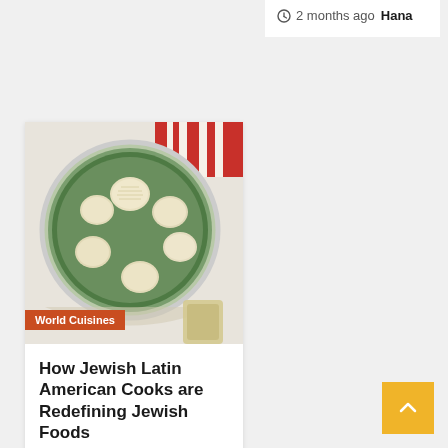2 months ago  Hana
[Figure (photo): Overhead view of a round glass baking dish with green spinach sauce and mounds of grated cheese (matzo balls or gnudi), with a striped red and white cloth in the background]
World Cuisines
How Jewish Latin American Cooks are Redefining Jewish Foods
2 months ago  Hana